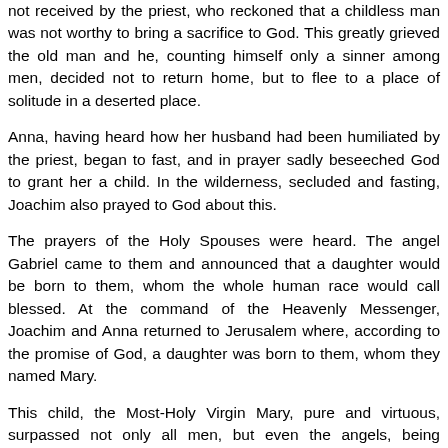not received by the priest, who reckoned that a childless man was not worthy to bring a sacrifice to God. This greatly grieved the old man and he, counting himself only a sinner among men, decided not to return home, but to flee to a place of solitude in a deserted place.
Anna, having heard how her husband had been humiliated by the priest, began to fast, and in prayer sadly beseeched God to grant her a child. In the wilderness, secluded and fasting, Joachim also prayed to God about this.
The prayers of the Holy Spouses were heard. The angel Gabriel came to them and announced that a daughter would be born to them, whom the whole human race would call blessed. At the command of the Heavenly Messenger, Joachim and Anna returned to Jerusalem where, according to the promise of God, a daughter was born to them, whom they named Mary.
This child, the Most-Holy Virgin Mary, pure and virtuous, surpassed not only all men, but even the angels, being manifested as the Living Temple, the Heavenly Gate, ushering in Christ to the Universe as the Salvation of our souls. The Nativity of the Mother of God pre-announced the